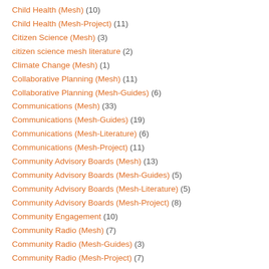Child Health (Mesh) (10)
Child Health (Mesh-Project) (11)
Citizen Science (Mesh) (3)
citizen science mesh literature (2)
Climate Change (Mesh) (1)
Collaborative Planning (Mesh) (11)
Collaborative Planning (Mesh-Guides) (6)
Communications (Mesh) (33)
Communications (Mesh-Guides) (19)
Communications (Mesh-Literature) (6)
Communications (Mesh-Project) (11)
Community Advisory Boards (Mesh) (13)
Community Advisory Boards (Mesh-Guides) (5)
Community Advisory Boards (Mesh-Literature) (5)
Community Advisory Boards (Mesh-Project) (8)
Community Engagement (10)
Community Radio (Mesh) (7)
Community Radio (Mesh-Guides) (3)
Community Radio (Mesh-Project) (7)
Community theatre (Mesh) (14)
Community theatre (Mesh-project) (15)
Complexity Sensitive Evaluation (Mesh) (11)